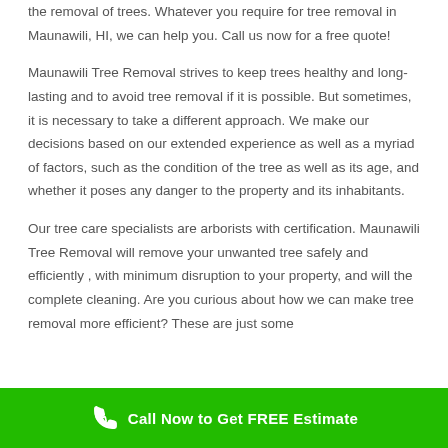the removal of trees. Whatever you require for tree removal in Maunawili, HI, we can help you. Call us now for a free quote!

Maunawili Tree Removal strives to keep trees healthy and long-lasting and to avoid tree removal if it is possible. But sometimes, it is necessary to take a different approach. We make our decisions based on our extended experience as well as a myriad of factors, such as the condition of the tree as well as its age, and whether it poses any danger to the property and its inhabitants.

Our tree care specialists are arborists with certification. Maunawili Tree Removal will remove your unwanted tree safely and efficiently , with minimum disruption to your property, and will the complete cleaning. Are you curious about how we can make tree removal more efficient? These are just some
Call Now to Get FREE Estimate